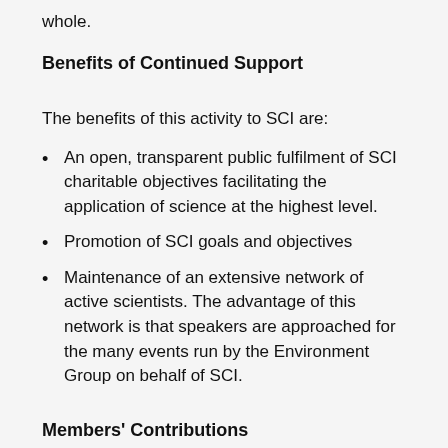whole.
Benefits of Continued Support
The benefits of this activity to SCI are:
An open, transparent public fulfilment of SCI charitable objectives facilitating the application of science at the highest level.
Promotion of SCI goals and objectives
Maintenance of an extensive network of active scientists. The advantage of this network is that speakers are approached for the many events run by the Environment Group on behalf of SCI.
Members' Contributions
Members contribute their time freely to this